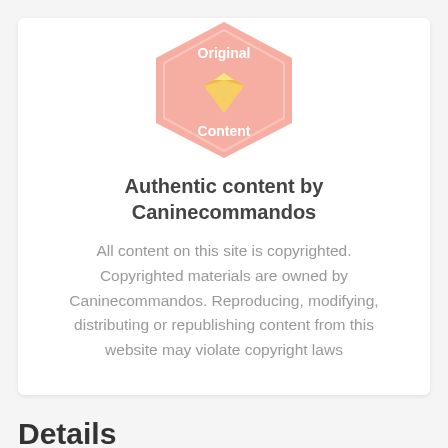[Figure (illustration): Pink hexagonal badge with 'Original Content' text and a gold diamond gem icon in the center]
Authentic content by Caninecommandos
All content on this site is copyrighted. Copyrighted materials are owned by Caninecommandos. Reproducing, modifying, distributing or republishing content from this website may violate copyright laws
Details
Play the daily New York Times Crossword and Mini Crossword for free in the New York Times for the